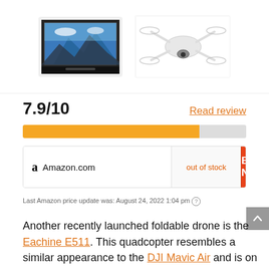[Figure (photo): Two product images: a phone/case product on the left and a white foldable drone on the right]
7.9/10
Read review
[Figure (other): Rating progress bar showing 7.9/10 filled in orange/yellow]
Amazon.com   out of stock   Buy Now
Last Amazon price update was: August 24, 2022 1:04 pm
Another recently launched foldable drone is the Eachine E511. This quadcopter resembles a similar appearance to the DJI Mavic Air and is on the list of the best drones that look like DJI Mavic Air clones. If you ever wanted to have your hands on one of these professional-grade camera